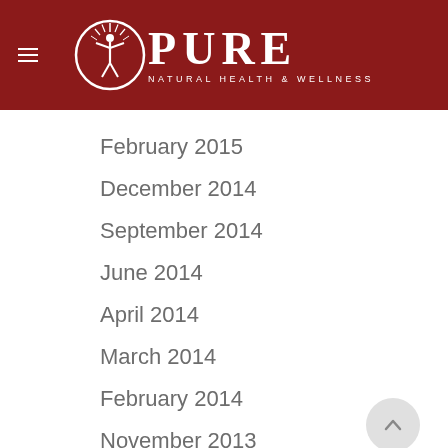[Figure (logo): PURE Natural Health & Wellness logo — white circle with human figure, text PURE in large serif letters, tagline NATURAL HEALTH & WELLNESS, on dark red background with hamburger menu icon]
February 2015
December 2014
September 2014
June 2014
April 2014
March 2014
February 2014
November 2013
October 2013